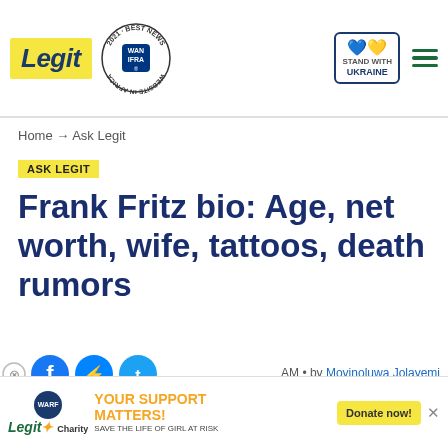Legit — WAN-IFRA 2021 Best News Website in Africa — Stand With Ukraine
Home → Ask Legit
ASK LEGIT
Frank Fritz bio: Age, net worth, wife, tattoos, death rumors
by Moyinoluwa Jolayemi
[Figure (screenshot): Video player overlay showing a woman with text 'MY BEAUTIFUL AND BRILLIANT LOVE' on purple-red background, a person in a grey cap, play button, and red chevron/close controls]
antique collector, reality TV and author. He is famous for rs show alongside his friend e on History Channel.
[Figure (other): Legit Charity advertisement banner: YOUR SUPPORT MATTERS! SAVE THE LIFE OF GIRL AT RISK — Donate now!]